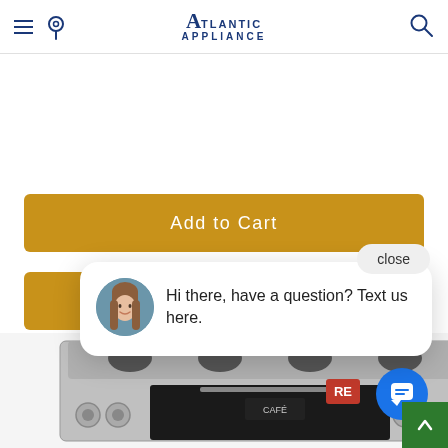Atlantic Appliance — navigation header with hamburger menu, location pin, logo, and search icon
[Figure (screenshot): Add to Cart golden/amber button]
close
[Figure (screenshot): Chat popup with avatar photo saying: Hi there, have a question? Text us here.]
[Figure (screenshot): Bottom portion of a stainless steel range/oven appliance with chat circle button, RE badge, and green scroll-to-top arrow]